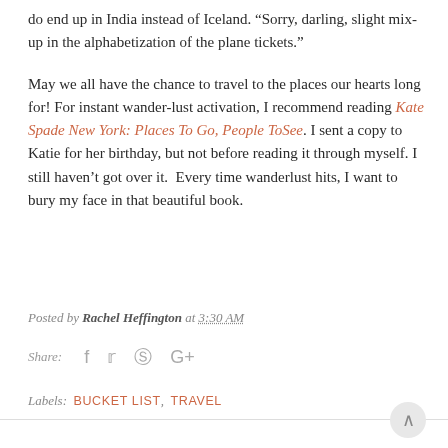do end up in India instead of Iceland. “Sorry, darling, slight mix-up in the alphabetization of the plane tickets.”
May we all have the chance to travel to the places our hearts long for! For instant wander-lust activation, I recommend reading Kate Spade New York: Places To Go, People ToSee. I sent a copy to Katie for her birthday, but not before reading it through myself. I still haven’t got over it. Every time wanderlust hits, I want to bury my face in that beautiful book.
Posted by Rachel Heffington at 3:30 AM
Share:
Labels: BUCKET LIST, TRAVEL